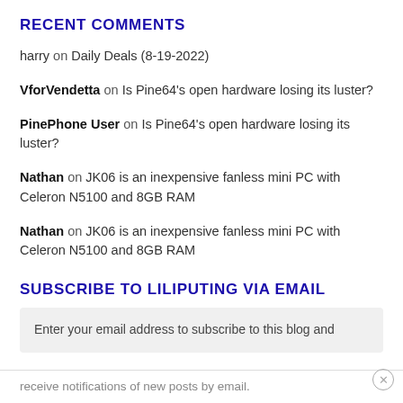RECENT COMMENTS
harry on Daily Deals (8-19-2022)
VforVendetta on Is Pine64's open hardware losing its luster?
PinePhone User on Is Pine64's open hardware losing its luster?
Nathan on JK06 is an inexpensive fanless mini PC with Celeron N5100 and 8GB RAM
Nathan on JK06 is an inexpensive fanless mini PC with Celeron N5100 and 8GB RAM
SUBSCRIBE TO LILIPUTING VIA EMAIL
Enter your email address to subscribe to this blog and receive notifications of new posts by email.